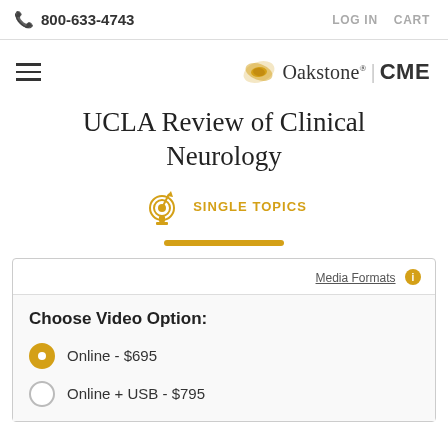📞 800-633-4743   LOG IN   CART
[Figure (logo): Oakstone CME logo with hamburger menu icon on the left]
UCLA Review of Clinical Neurology
SINGLE TOPICS
Media Formats ℹ
Choose Video Option:
Online - $695
Online + USB - $795